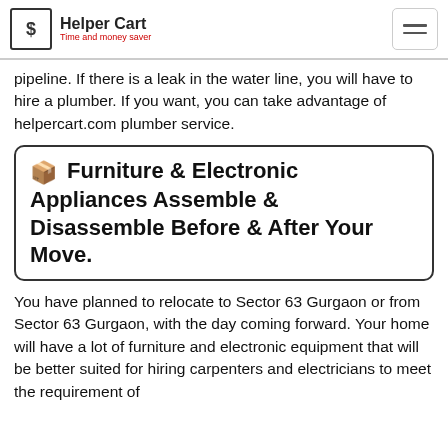Helper Cart — Time and money saver
pipeline. If there is a leak in the water line, you will have to hire a plumber. If you want, you can take advantage of helpercart.com plumber service.
Furniture & Electronic Appliances Assemble & Disassemble Before & After Your Move.
You have planned to relocate to Sector 63 Gurgaon or from Sector 63 Gurgaon, with the day coming forward. Your home will have a lot of furniture and electronic equipment that will be better suited for hiring carpenters and electricians to meet the requirement of